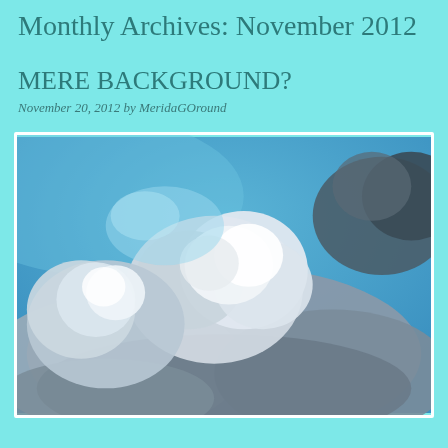Monthly Archives: November 2012
MERE BACKGROUND?
November 20, 2012 by MeridaGOround
[Figure (photo): A photograph of large cumulus clouds against a bright blue sky. The clouds are white and grey-blue, with billowing tops and darker undersides, filling most of the frame.]